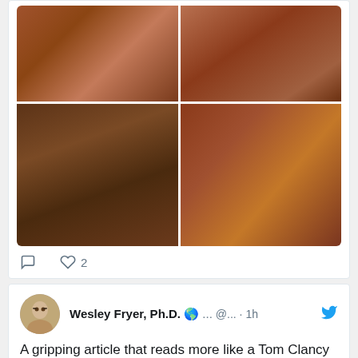[Figure (photo): 2x2 grid of BBQ brisket/meat photos showing close-up images of smoked meat]
♡ 2
[Figure (screenshot): Tweet from Wesley Fryer, Ph.D. globe emoji ... @... · 1h with Twitter bird icon. Text: A gripping article that reads more like a Tom Clancy novel than the well-researched narrative it is. Thank you, General Milley. This dark]
Read Wes' FREE Flipboard Magazine
[Figure (photo): Flipboard magazine cover image showing a black and white photo with the Flipboard logo overlay]